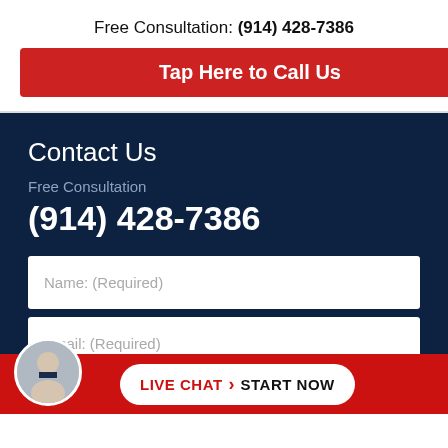Free Consultation: (914) 428-7386
Tap Here to Call Us
Contact Us
Free Consultation
(914) 428-7386
Name: (Required)
Email: (Required)
LIVE CHAT  START NOW